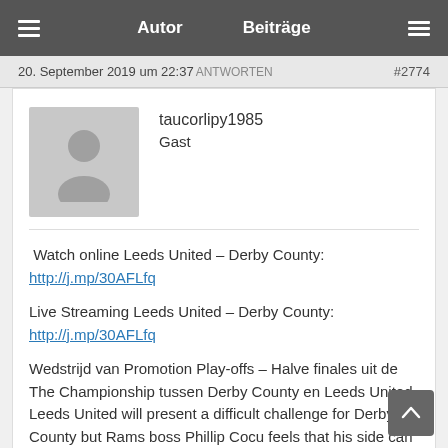Autor   Beiträge
20. September 2019 um 22:37 ANTWORTEN   #2774
[Figure (illustration): User avatar placeholder silhouette of a person on grey background]
taucorlipy1985
Gast
Watch online Leeds United – Derby County:
http://j.mp/30AFLfq

Live Streaming Leeds United – Derby County:
http://j.mp/30AFLfq

Wedstrijd van Promotion Play-offs – Halve finales uit de The Championship tussen Derby County en Leeds United. Leeds United will present a difficult challenge for Derby County but Rams boss Phillip Cocu feels that his side can still leave Elland Road with a result. Find Leeds United vs Derby County result on Yahoo Sports. View full match commentary including video highlights, news, team line-ups, player ratings, stats and more. Colin Gibson sat down with Roger Davies and Roy McFarland to take a look at the